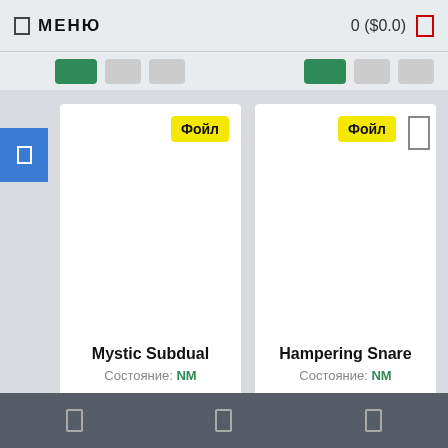МЕНЮ   0 ($0.0)
[Figure (screenshot): Mobile app card listing showing two trading cards: 'Mystic Subdual' and 'Hampering Snare', both with Foil badge and NM condition, with navigation bar at top and bottom]
Mystic Subdual
Состояние: NM
Hampering Snare
Состояние: NM